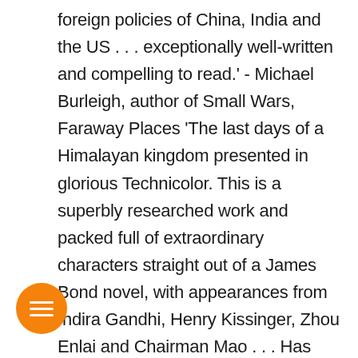foreign policies of China, India and the US . . . exceptionally well-written and compelling to read.' - Michael Burleigh, author of Small Wars, Faraway Places 'The last days of a Himalayan kingdom presented in glorious Technicolor. This is a superbly researched work and packed full of extraordinary characters straight out of a James Bond novel, with appearances from Indira Gandhi, Henry Kissinger, Zhou Enlai and Chairman Mao . . . Has great relevance to today's Asia; anyone with an interest in India and China's complex relationship should read this enthralling book.' - Prajwal Parajuly, author of The Gurkha's Daughter and Land Where I Flee This is the true story of Sikkim, a tiny Buddhist kingdom in the Himalayas that survived the end of the British